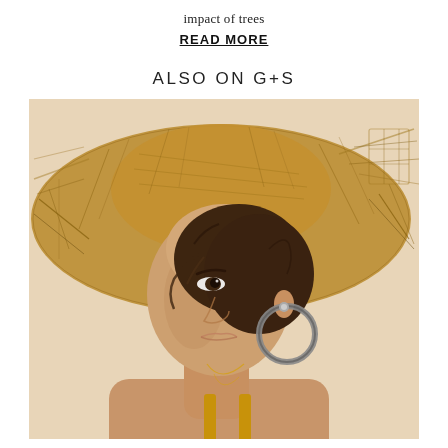impact of trees
READ MORE
ALSO ON G+S
[Figure (photo): Woman wearing a large wide-brim straw/raffia hat, large silver hoop earring and gold necklace, mustard yellow top, looking upward, against a warm beige background.]